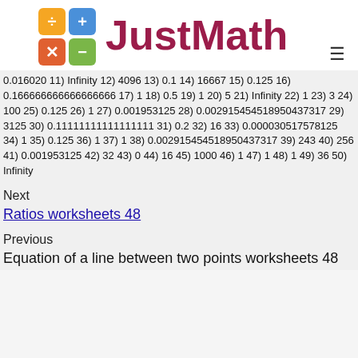[Figure (logo): JustMath logo with calculator icon squares (division orange, plus blue, multiply red, minus green) and red text 'JustMath']
0.016020 11) Infinity 12) 4096 13) 0.1 14) 16667 15) 0.125 16) 0.166666666666666666 17) 1 18) 0.5 19) 1 20) 5 21) Infinity 22) 1 23) 3 24) 100 25) 0.125 26) 1 27) 0.001953125 28) 0.002915454518950437317 29) 3125 30) 0.11111111111111111 31) 0.2 32) 16 33) 0.000030517578125 34) 1 35) 0.125 36) 1 37) 1 38) 0.002915454518950437317 39) 243 40) 256 41) 0.001953125 42) 32 43) 0 44) 16 45) 1000 46) 1 47) 1 48) 1 49) 36 50) Infinity
Next
Ratios worksheets 48
Previous
Equation of a line between two points worksheets 48